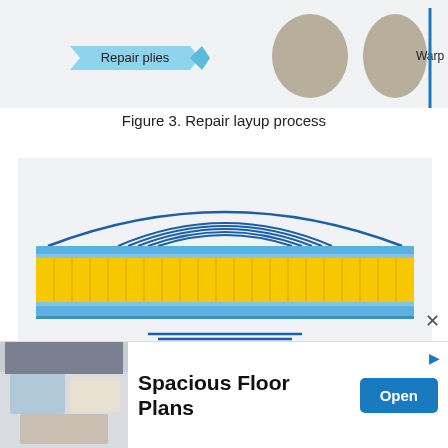[Figure (engineering-diagram): Top portion of repair layup process diagram showing repair plies label with arrow pointing to circular cross-section views and 'Warp' label]
Figure 3. Repair layup process
[Figure (engineering-diagram): Repair layup process diagram showing two cross-sectional views of composite laminate repair. Top view shows repair plies curved over a convex dome with blue face sheets and yellow core. Bottom view shows repair plies inserted into a recessed area with blue face sheets and yellow core.]
Spacious Floor Plans